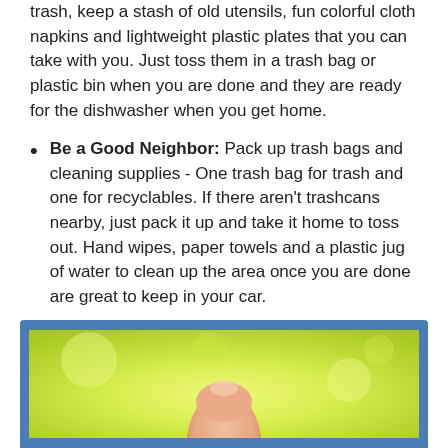trash, keep a stash of old utensils, fun colorful cloth napkins and lightweight plastic plates that you can take with you. Just toss them in a trash bag or plastic bin when you are done and they are ready for the dishwasher when you get home.
Be a Good Neighbor: Pack up trash bags and cleaning supplies - One trash bag for trash and one for recyclables. If there aren't trashcans nearby, just pack it up and take it home to toss out. Hand wipes, paper towels and a plastic jug of water to clean up the area once you are done are great to keep in your car.
It's time to get out there, take a break and enjoy the beauties of the fall season!
[Figure (photo): Photo of a hand holding something against a bright yellow-green background, displayed inside a blue-bordered frame at the bottom of the page.]